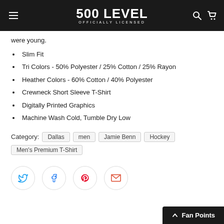500 LEVEL OFFICIALLY LICENSED
were young.
Slim Fit
Tri Colors - 50% Polyester / 25% Cotton / 25% Rayon
Heather Colors - 60% Cotton / 40% Polyester
Crewneck Short Sleeve T-Shirt
Digitally Printed Graphics
Machine Wash Cold, Tumble Dry Low
Category: Dallas  men  Jamie Benn  Hockey  Men's Premium T-Shirt
[Figure (infographic): Social sharing buttons: Twitter (blue bird icon), Facebook (blue f icon), Pinterest (red P icon), Email (red envelope icon)]
Fan Points